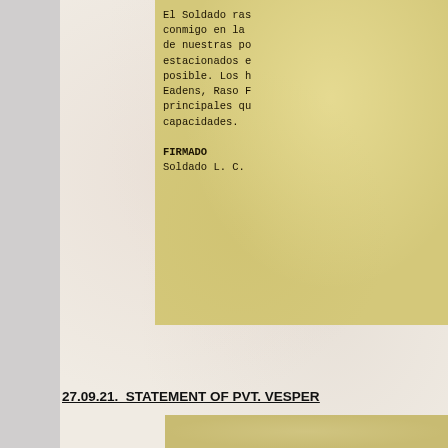El Soldado ras conmigo en la de nuestras po estacionados e posible. Los h Eadens, Raso F principales qu capacidades.

FIRMADO
Soldado L. C.
27.09.21.  STATEMENT OF PVT. VESPER